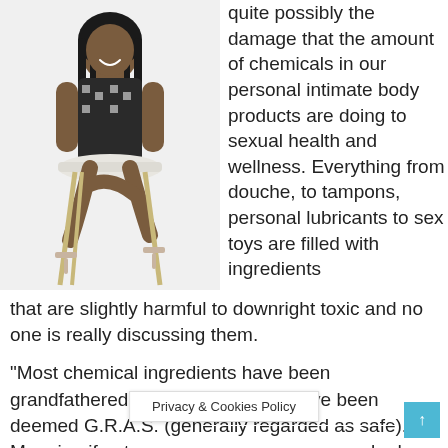[Figure (photo): A woman wearing a black and white patterned dress sitting cross-legged on a white modern chair, smiling, against a white background. She is wearing high-heeled sandals.]
quite possibly the damage that the amount of chemicals in our personal intimate body products are doing to sexual health and wellness. Everything from douche, to tampons, personal lubricants to sex toys are filled with ingredients that are slightly harmful to downright toxic and no one is really discussing them.
“Most chemical ingredients have been grandfathered in by the FDA and have been deemed G.R.A.S. (generally regarded as safe). Meaning if not more people do
Privacy & Cookies Policy